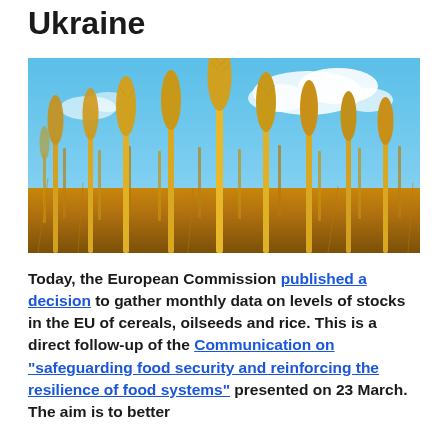Ukraine
[Figure (photo): Close-up photograph of golden wheat stalks with a blue sky and white clouds in the background, typical Ukrainian agricultural landscape.]
Today, the European Commission published a decision to gather monthly data on levels of stocks in the EU of cereals, oilseeds and rice. This is a direct follow-up of the Communication on “safeguarding food security and reinforcing the resilience of food systems” presented on 23 March. The aim is to better